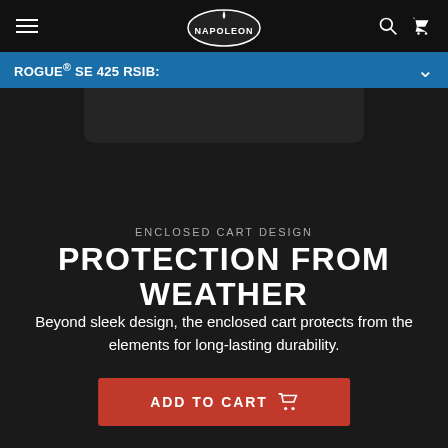NAPOLEON
ROGUE® SE 425 RSIB:
[Figure (photo): Dark background area showing partial view of a Napoleon grill]
ENCLOSED CART DESIGN
PROTECTION FROM WEATHER
Beyond sleek design, the enclosed cart protects from the elements for long-lasting durability.
ADD TO CART